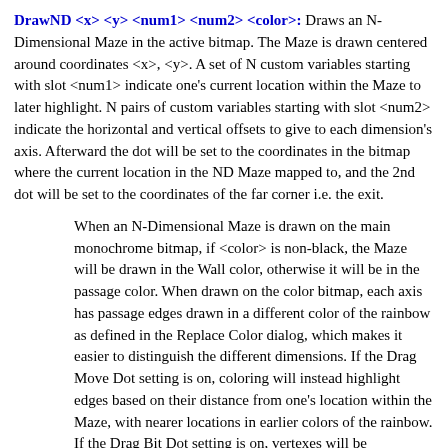DrawND <x> <y> <num1> <num2> <color>: Draws an N-Dimensional Maze in the active bitmap. The Maze is drawn centered around coordinates <x>, <y>. A set of N custom variables starting with slot <num1> indicate one's current location within the Maze to later highlight. N pairs of custom variables starting with slot <num2> indicate the horizontal and vertical offsets to give to each dimension's axis. Afterward the dot will be set to the coordinates in the bitmap where the current location in the ND Maze mapped to, and the 2nd dot will be set to the coordinates of the far corner i.e. the exit.
When an N-Dimensional Maze is drawn on the main monochrome bitmap, if <color> is non-black, the Maze will be drawn in the Wall color, otherwise it will be in the passage color. When drawn on the color bitmap, each axis has passage edges drawn in a different color of the rainbow as defined in the Replace Color dialog, which makes it easier to distinguish the different dimensions. If the Drag Move Dot setting is on, coloring will instead highlight edges based on their distance from one's location within the Maze, with nearer locations in earlier colors of the rainbow. If the Drag Bit Dot setting is on, vertexes will be highlighted by 3x3 pixel spots in <color>, which makes them easier to see.